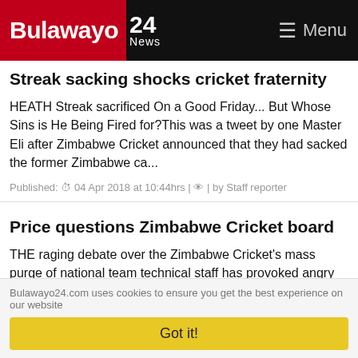Bulawayo 24 News — Menu
Streak sacking shocks cricket fraternity
HEATH Streak sacrificed On a Good Friday... But Whose Sins is He Being Fired for?This was a tweet by one Master Eli after Zimbabwe Cricket announced that they had sacked the former Zimbabwe ca...
Published: 04 Apr 2018 at 10:44hrs | by Staff reporter
Price questions Zimbabwe Cricket board
THE raging debate over the Zimbabwe Cricket's mass purge of national team technical staff has provoked angry responses from some sections of the cricket fraternity with former national team cricketer,...
Bulawayo24.com uses cookies to ensure you get the best experience on our website
Got it!